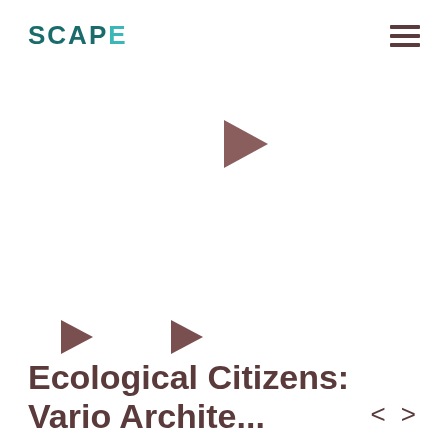SCAPE
[Figure (other): Three right-pointing play button triangles in muted brown/rose color — one large triangle in upper center area, and two smaller triangles in the lower-center area side by side]
Ecological Citizens: Vari... Archit...
< >